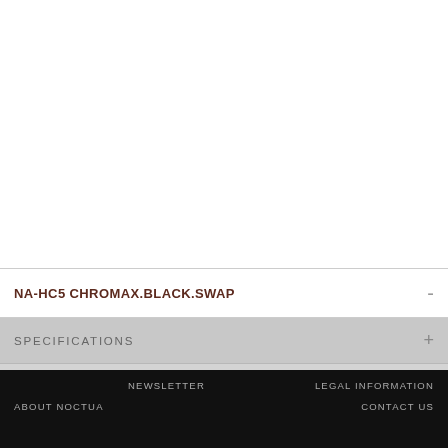[Figure (photo): White product image area for Noctua NA-HC5 chromax.black.swap]
NA-HC5 CHROMAX.BLACK.SWAP
SPECIFICATIONS +
REVIEWS +
SERVICE +
BUY +
NEWSLETTER   LEGAL INFORMATION   ABOUT NOCTUA   CONTACT US